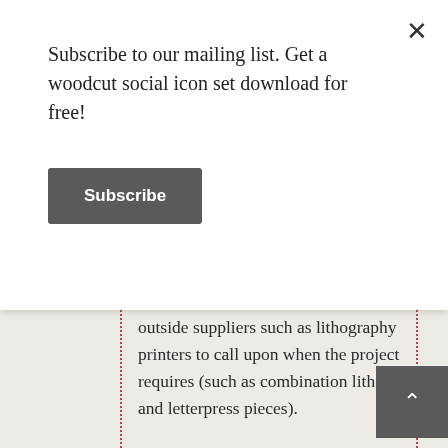Subscribe to our mailing list. Get a woodcut social icon set download for free!
Subscribe
outside suppliers such as lithography printers to call upon when the project requires (such as combination litho and letterpress pieces).
The new building will help us improve our letterpress offerings even further. Be assured, we have reinstalled our fussy customer service and finicky production skills to the new location. Basically, everything is set-up and run to help creative companies create attractive print materials.